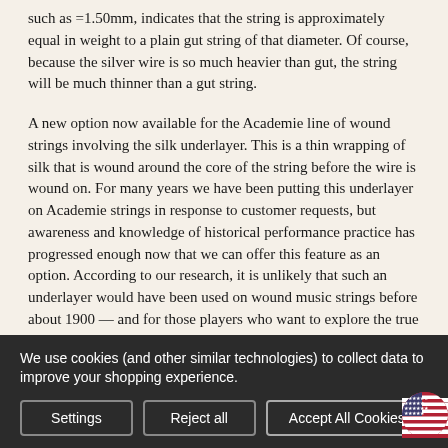such as =1.50mm, indicates that the string is approximately equal in weight to a plain gut string of that diameter. Of course, because the silver wire is so much heavier than gut, the string will be much thinner than a gut string.
A new option now available for the Academie line of wound strings involving the silk underlayer. This is a thin wrapping of silk that is wound around the core of the string before the wire is wound on. For many years we have been putting this underlayer on Academie strings in response to customer requests, but awareness and knowledge of historical performance practice has progressed enough now that we can offer this feature as an option. According to our research, it is unlikely that such an underlayer would have been used on wound music strings before about 1900 — and for those players who want to explore the true nature of
We use cookies (and other similar technologies) to collect data to improve your shopping experience.